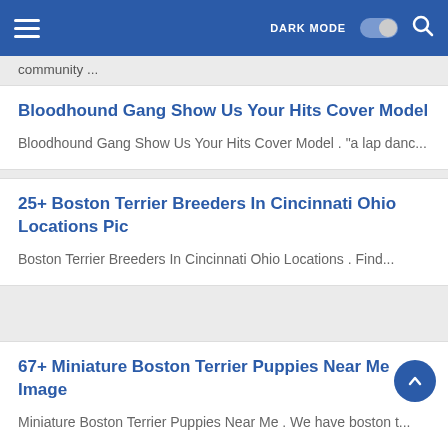DARK MODE
community ...
Bloodhound Gang Show Us Your Hits Cover Model
Bloodhound Gang Show Us Your Hits Cover Model . "a lap danc...
25+ Boston Terrier Breeders In Cincinnati Ohio Locations Pic
Boston Terrier Breeders In Cincinnati Ohio Locations . Find...
67+ Miniature Boston Terrier Puppies Near Me Image
Miniature Boston Terrier Puppies Near Me . We have boston t...